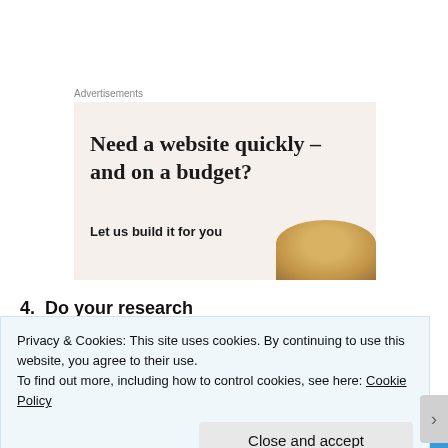Advertisements
[Figure (illustration): Advertisement banner with beige background showing text 'Need a website quickly – and on a budget? Let us build it for you' with a decorative bowl image on the right side.]
4.  Do your research
If you do want to know a bit more about what is happening in
Privacy & Cookies: This site uses cookies. By continuing to use this website, you agree to their use.
To find out more, including how to control cookies, see here: Cookie Policy
Close and accept